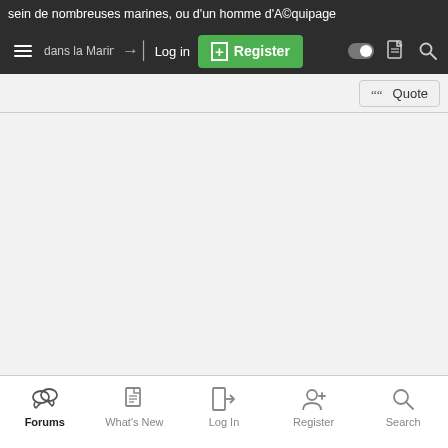sein de nombreuses marines, ou d'un homme d'A©quipage dans la Marine n...
Log in
Register
Quote
Forums | What's New | Log In | Register | Search